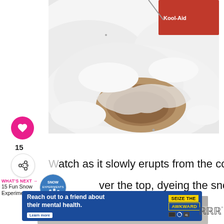[Figure (photo): Close-up photo of a science experiment showing a crater or hole erupting through snow, with a red box/container partially visible at the top right corner. The snow appears white and fluffy, and there is a brownish liquid or substance visible in the center depression.]
Watch as it slowly erupts from the container
[Figure (infographic): WHAT'S NEXT arrow label in pink with '15 Fun Snow Experiments...' text and a circular thumbnail image of snow experiments]
ver the top, dyeing the snow!
[Figure (screenshot): Advertisement banner: 'Reach out to a friend about their mental health. Learn more' with 'SEIZE THE AWKWARD' branding on blue background with yellow text]